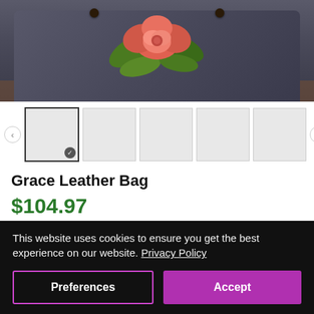[Figure (photo): Product photo of Grace Leather Bag — dark gray leather bag with embossed coral/pink rose and green leaves floral design on top, brown leather handles with dark round studs, displayed on a brown surface. Only the top portion of the bag is visible.]
[Figure (screenshot): Thumbnail image carousel with navigation arrows. First thumbnail is selected (active, with checkmark). Four additional blank/gray thumbnails follow.]
Grace Leather Bag
$104.97
Color
Quantity
This website uses cookies to ensure you get the best experience on our website. Privacy Policy
Preferences
Accept